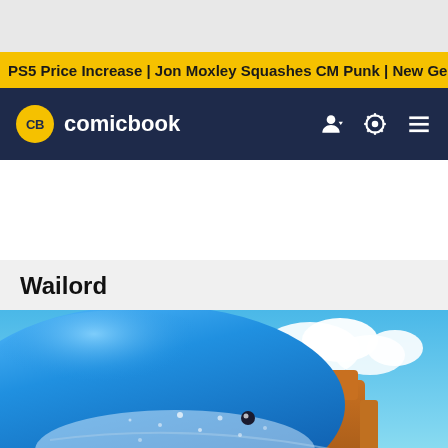PS5 Price Increase | Jon Moxley Squashes CM Punk | New Ge
[Figure (logo): CB comicbook logo with yellow circular badge and white text on dark navy navigation bar]
Wailord
[Figure (photo): Wailord Pokemon - a large blue whale Pokemon emerging from turquoise ocean water with orange rock formations and cloudy blue sky in background]